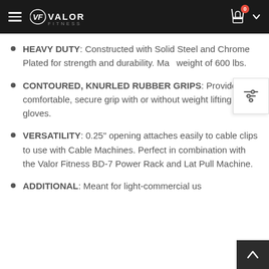Valor Fitness website header with logo, hamburger menu, and cart icon showing 0 items
HEAVY DUTY: Constructed with Solid Steel and Chrome Plated for strength and durability. Max weight of 600 lbs.
CONTOURED, KNURLED RUBBER GRIPS: Provides a comfortable, secure grip with or without weight lifting gloves.
VERSATILITY: 0.25" opening attaches easily to cable clips to use with Cable Machines. Perfect in combination with the Valor Fitness BD-7 Power Rack and Lat Pull Machine.
ADDITIONAL: Meant for light-commercial us